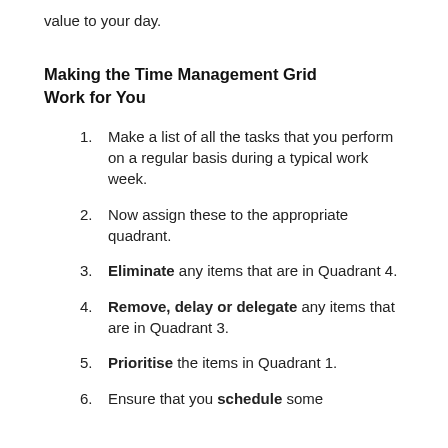value to your day.
Making the Time Management Grid Work for You
Make a list of all the tasks that you perform on a regular basis during a typical work week.
Now assign these to the appropriate quadrant.
Eliminate any items that are in Quadrant 4.
Remove, delay or delegate any items that are in Quadrant 3.
Prioritise the items in Quadrant 1.
Ensure that you schedule some